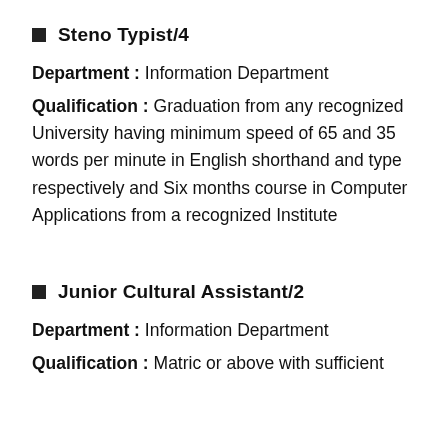Steno Typist/4
Department : Information Department
Qualification : Graduation from any recognized University having minimum speed of 65 and 35 words per minute in English shorthand and type respectively and Six months course in Computer Applications from a recognized Institute
Junior Cultural Assistant/2
Department : Information Department
Qualification : Matric or above with sufficient